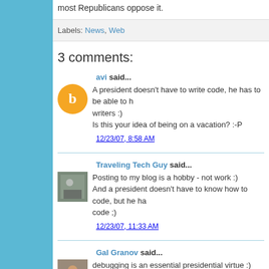most Republicans oppose it.
Labels: News, Web
3 comments:
avi said...
A president doesn't have to write code, he has to be able to h writers :)
Is this your idea of being on a vacation? :-P
12/23/07, 8:58 AM
Traveling Tech Guy said...
Posting to my blog is a hobby - not work :)
And a president doesn't have to know how to code, but he ha code ;)
12/23/07, 11:33 AM
Gal Granov said...
debugging is an essential presidential virtue :)